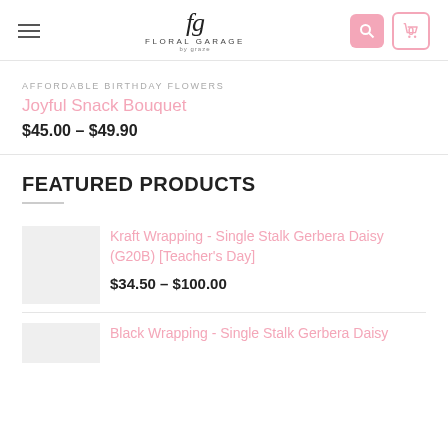Floral Garage - Navigation header with logo, search and cart icons
AFFORDABLE BIRTHDAY FLOWERS
Joyful Snack Bouquet
$45.00 – $49.90
FEATURED PRODUCTS
Kraft Wrapping - Single Stalk Gerbera Daisy (G20B) [Teacher's Day]
$34.50 – $100.00
Black Wrapping - Single Stalk Gerbera Daisy